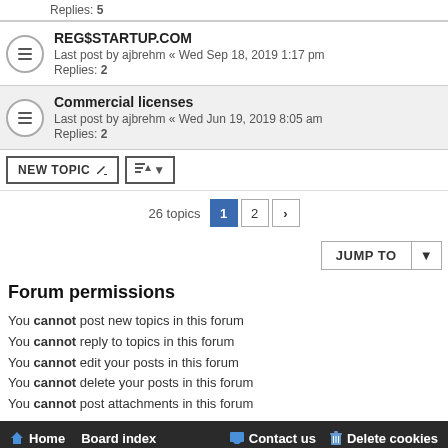Replies: 5
REG$STARTUP.COM
Last post by ajbrehm « Wed Sep 18, 2019 1:17 pm
Replies: 2
Commercial licenses
Last post by ajbrehm « Wed Jun 19, 2019 8:05 am
Replies: 2
NEW TOPIC | Sort | 26 topics  1  2  >
JUMP TO
Forum permissions
You cannot post new topics in this forum
You cannot reply to topics in this forum
You cannot edit your posts in this forum
You cannot delete your posts in this forum
You cannot post attachments in this forum
Home  Board index  Contact us  Delete cookies
Flat Style by Ian Bradley